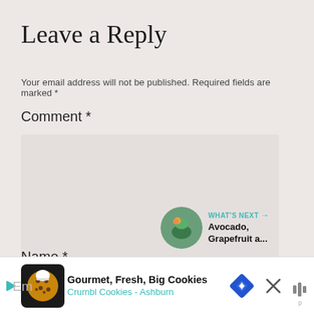Leave a Reply
Your email address will not be published. Required fields are marked *
Comment *
[Figure (screenshot): Empty comment textarea input field]
Name *
[Figure (infographic): Social interaction widgets: teal heart like button, count '1', and share button]
[Figure (infographic): What's Next panel with circular thumbnail image and text 'WHAT'S NEXT → Avocado, Grapefruit a...']
[Figure (screenshot): Advertisement banner: Gourmet, Fresh, Big Cookies - Crumbl Cookies - Ashburn with cookie icon, navigation arrow icon, close X button, and mute icon]